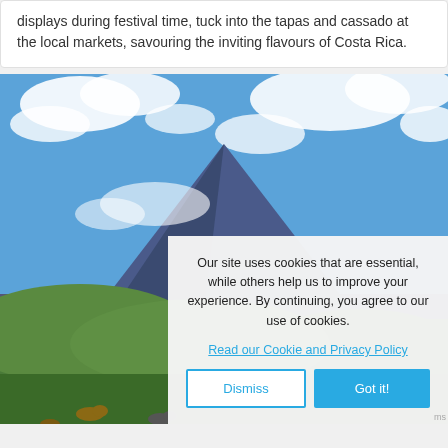displays during festival time, tuck into the tapas and cassado at the local markets, savouring the inviting flavours of Costa Rica.
[Figure (photo): Photograph of a large volcanic mountain (Arenal Volcano, Costa Rica) with blue sky and white clouds, green hills and grazing cattle in the foreground.]
Our site uses cookies that are essential, while others help us to improve your experience. By continuing, you agree to our use of cookies.
Read our Cookie and Privacy Policy
Dismiss
Got it!